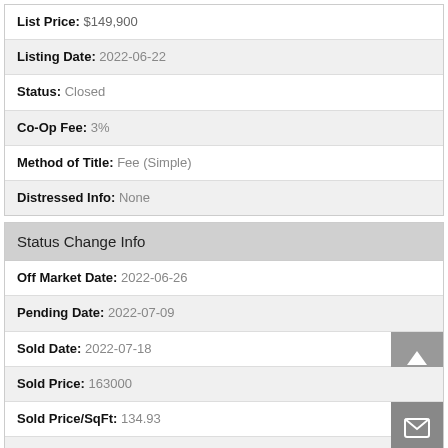List Price: $149,900
Listing Date: 2022-06-22
Status: Closed
Co-Op Fee: 3%
Method of Title: Fee (Simple)
Distressed Info: None
Status Change Info
Off Market Date: 2022-06-26
Pending Date: 2022-07-09
Sold Date: 2022-07-18
Sold Price: 163000
Sold Price/SqFt: 134.93
Lot Sz Sold Prc/SqFt: 81.34